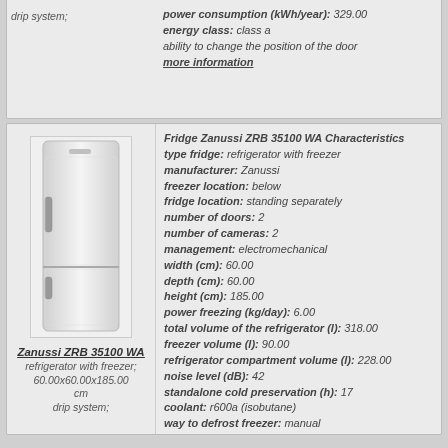drip system;
power consumption (kWh/year): 329.00
energy class: class a
ability to change the position of the door
more information
[Figure (photo): Photo of Zanussi ZRB 35100 WA refrigerator with freezer, white, standing unit]
Zanussi ZRB 35100 WA
refrigerator with freezer; 60.00x60.00x185.00 cm drip system;
Fridge Zanussi ZRB 35100 WA Characteristics
type fridge: refrigerator with freezer
manufacturer: Zanussi
freezer location: below
fridge location: standing separately
number of doors: 2
number of cameras: 2
management: electromechanical
width (cm): 60.00
depth (cm): 60.00
height (cm): 185.00
power freezing (kg/day): 6.00
total volume of the refrigerator (l): 318.00
freezer volume (l): 90.00
refrigerator compartment volume (l): 228.00
noise level (dB): 42
standalone cold preservation (h): 17
coolant: r600a (isobutane)
way to defrost freezer: manual
way to defrost a refrigerator: drip system
number of compressors: 1
power consumption (kWh/year): 343.00
energy class: class a
ability to change the position of the door
more information